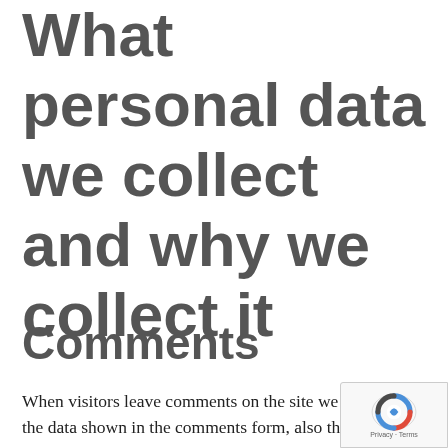What personal data we collect and why we collect it
Comments
When visitors leave comments on the site we collect the data shown in the comments form, also the visitor's IP address and browser user string to help spam detection.